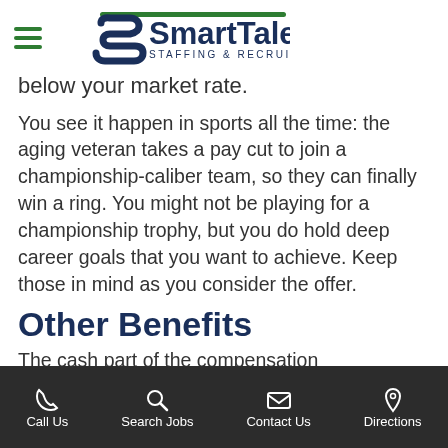SmartTalent Staffing & Recruiting
below your market rate.
You see it happen in sports all the time: the aging veteran takes a pay cut to join a championship-caliber team, so they can finally win a ring. You might not be playing for a championship trophy, but you do hold deep career goals that you want to achieve. Keep those in mind as you consider the offer.
Other Benefits
The cash part of the compensation package may be low, but the other
Call Us | Search Jobs | Contact Us | Directions